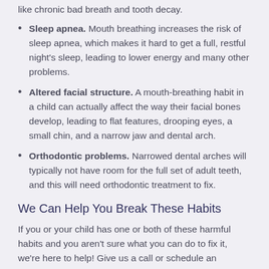like chronic bad breath and tooth decay.
Sleep apnea. Mouth breathing increases the risk of sleep apnea, which makes it hard to get a full, restful night's sleep, leading to lower energy and many other problems.
Altered facial structure. A mouth-breathing habit in a child can actually affect the way their facial bones develop, leading to flat features, drooping eyes, a small chin, and a narrow jaw and dental arch.
Orthodontic problems. Narrowed dental arches will typically not have room for the full set of adult teeth, and this will need orthodontic treatment to fix.
We Can Help You Break These Habits
If you or your child has one or both of these harmful habits and you aren't sure what you can do to fix it, we're here to help! Give us a call or schedule an appointment with us, and we can discuss ways to discourage mouth